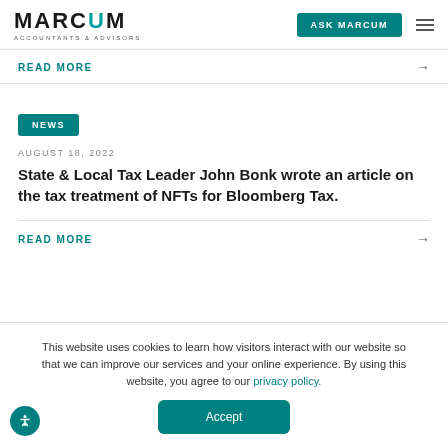MARCUM ACCOUNTANTS & ADVISORS | ASK MARCUM
READ MORE →
NEWS
AUGUST 18, 2022
State & Local Tax Leader John Bonk wrote an article on the tax treatment of NFTs for Bloomberg Tax.
READ MORE →
This website uses cookies to learn how visitors interact with our website so that we can improve our services and your online experience. By using this website, you agree to our privacy policy.
Accept